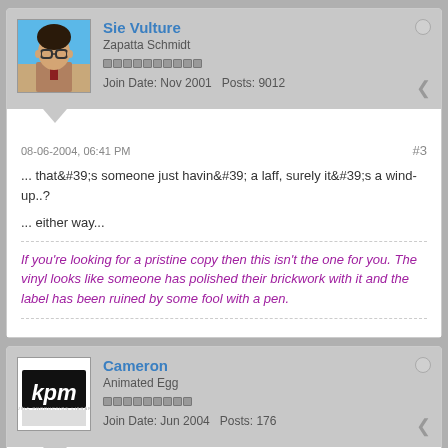[Figure (screenshot): Forum post by Sie Vulture with avatar photo of a person with dark curly hair and glasses against blue background. Username shown in blue, title Zapatta Schmidt, reputation bar, join date Nov 2001, posts 9012.]
08-06-2004, 06:41 PM
#3
... that&#39;s someone just havin&#39; a laff, surely it&#39;s a wind-up..?
... either way...
If you're looking for a pristine copy then this isn't the one for you. The vinyl looks like someone has polished their brickwork with it and the label has been ruined by some fool with a pen.
[Figure (screenshot): Forum post by Cameron with KPM logo avatar. Title: Animated Egg. Join Date: Jun 2004, Posts: 176.]